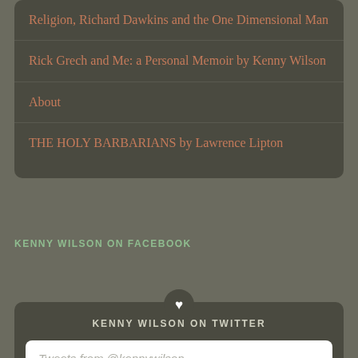Religion, Richard Dawkins and the One Dimensional Man
Rick Grech and Me: a Personal Memoir by Kenny Wilson
About
THE HOLY BARBARIANS by Lawrence Lipton
KENNY WILSON ON FACEBOOK
KENNY WILSON ON TWITTER
Tweets from @kennywilson